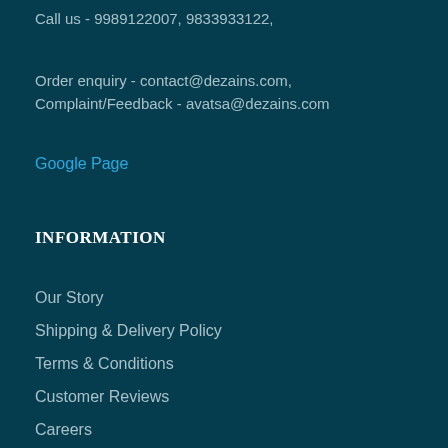Call us - 9989122007, 9833933122,
Order enquiry - contact@dezains.com,
Complaint/Feedback - avatsa@dezains.com
Google Page
INFORMATION
Our Story
Shipping & Delivery Policy
Terms & Conditions
Customer Reviews
Careers